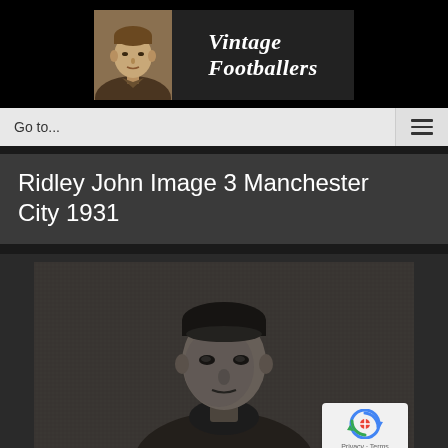[Figure (logo): Vintage Footballers logo — black background with a vintage sepia-toned footballer portrait on the left and the text 'Vintage Footballers' in bold white italic serif font on a dark grey background on the right]
Go to...
Ridley John Image 3 Manchester City 1931
[Figure (photo): A blurry/grainy vintage black and white photograph of a man (footballer John Ridley from Manchester City, 1931) with a reCAPTCHA privacy badge overlaid in the bottom-right corner]